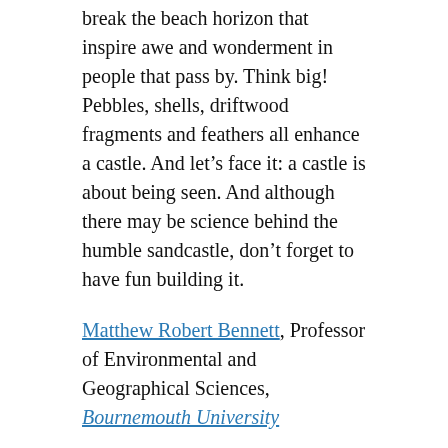break the beach horizon that inspire awe and wonderment in people that pass by. Think big! Pebbles, shells, driftwood fragments and feathers all enhance a castle. And let's face it: a castle is about being seen. And although there may be science behind the humble sandcastle, don't forget to have fun building it.
Matthew Robert Bennett, Professor of Environmental and Geographical Sciences, Bournemouth University
This article is republished from The Conversation under a Creative Commons license. Read the original article.